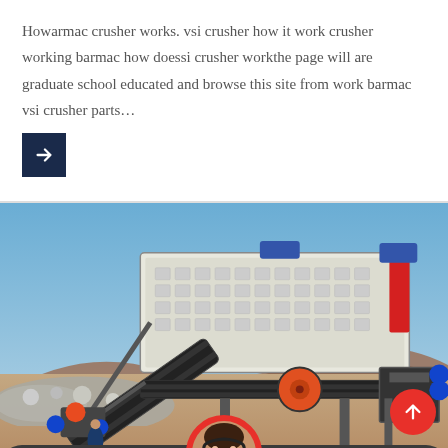Howarmac crusher works. vsi crusher how it work crusher working barmac how doessi crusher workthe page will are graduate school educated and browse this site from work barmac vsi crusher parts…
[Figure (photo): Industrial mobile crushing machine/plant photographed outdoors on a construction/mining site with blue sky background and rocky terrain.]